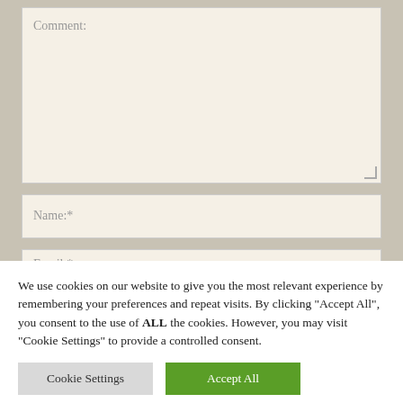Comment:
Name:*
Email:*
We use cookies on our website to give you the most relevant experience by remembering your preferences and repeat visits. By clicking "Accept All", you consent to the use of ALL the cookies. However, you may visit "Cookie Settings" to provide a controlled consent.
Cookie Settings
Accept All